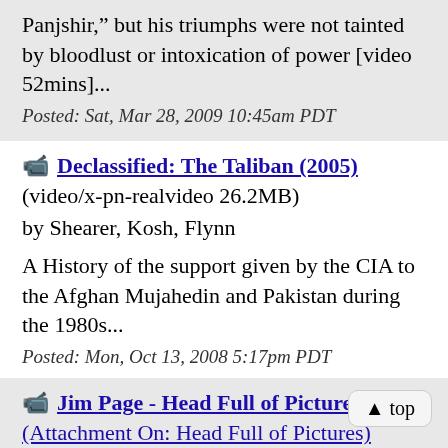Panjshir,” but his triumphs were not tainted by bloodlust or intoxication of power [video 52mins]...
Posted: Sat, Mar 28, 2009 10:45am PDT
Declassified: The Taliban (2005)
(video/x-pn-realvideo 26.2MB)
by Shearer, Kosh, Flynn
A History of the support given by the CIA to the Afghan Mujahedin and Pakistan during the 1980s...
Posted: Mon, Oct 13, 2008 5:17pm PDT
Jim Page - Head Full of Pictures
(Attachment On: Head Full of Pictures)
(video/x-ms-wmv 22.8MB) by Jim Page r